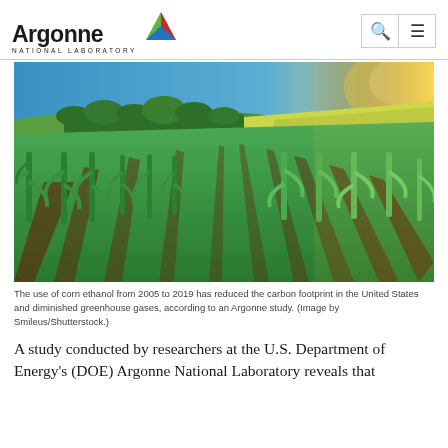Argonne National Laboratory
[Figure (photo): Wide-angle photo of a green corn field with rows of young corn plants under a bright sunny sky with golden light on the right side, rolling hills and trees in the background.]
The use of corn ethanol from 2005 to 2019 has reduced the carbon footprint in the United States and diminished greenhouse gases, according to an Argonne study. (Image by Smileus/Shutterstock.)
A study conducted by researchers at the U.S. Department of Energy's (DOE) Argonne National Laboratory reveals that